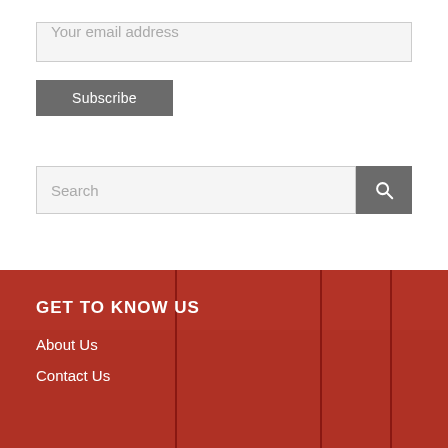Your email address
Subscribe
Search
GET TO KNOW US
About Us
Contact Us